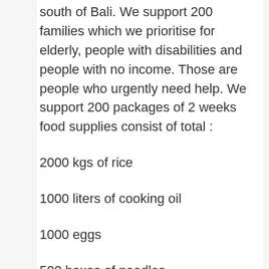south of Bali. We support 200 families which we prioritise for elderly, people with disabilities and people with no income. Those are people who urgently need help. We support 200 packages of 2 weeks food supplies consist of total :
2000 kgs of rice
1000 liters of cooking oil
1000 eggs
500 boxes of noodles